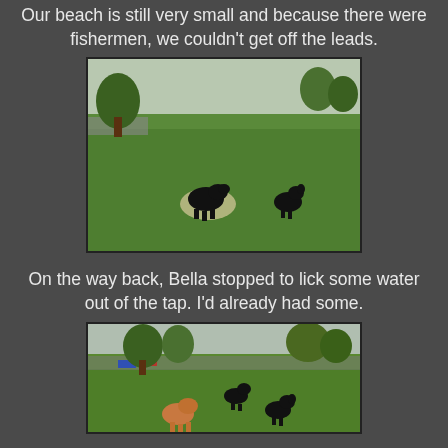Our beach is still very small and because there were fishermen, we couldn't get off the leads.
[Figure (photo): Two black Scottish Terrier dogs on a green grass park area. One dog is near a pale circular patch on the ground, the other dog is further right. Trees and a path visible in the background.]
On the way back, Bella stopped to lick some water out of the tap.  I'd already had some.
[Figure (photo): Three dogs in a green park setting. A tan/brown dog in the foreground, and two black Scottish Terriers further back. Trees, a path and some colorful objects visible in the background.]